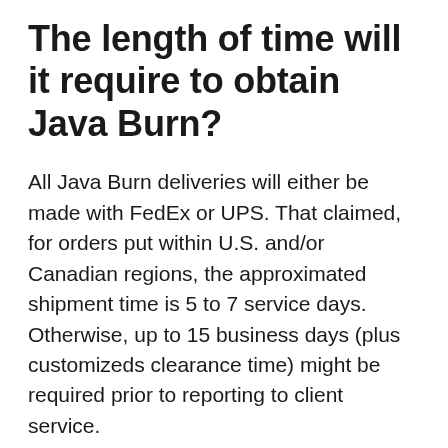The length of time will it require to obtain Java Burn?
All Java Burn deliveries will either be made with FedEx or UPS. That claimed, for orders put within U.S. and/or Canadian regions, the approximated shipment time is 5 to 7 service days. Otherwise, up to 15 business days (plus customizeds clearance time) might be required prior to reporting to client service.
Is Java Burn safeguarded by a money-back guarantee?